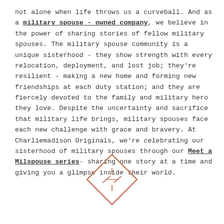not alone when life throws us a curveball. And as a military spouse - owned company, we believe in the power of sharing stories of fellow military spouses. The military spouse community is a unique sisterhood - they show strength with every relocation, deployment, and lost job; they're resilient - making a new home and forming new friendships at each duty station; and they are fiercely devoted to the family and military hero they love. Despite the uncertainty and sacrifice that military life brings, military spouses face each new challenge with grace and bravery. At Charliemadison Originals, we're celebrating our sisterhood of military spouses through our Meet a Milspouse series- sharing one story at a time and giving you a glimpse inside their world.
[Figure (logo): Diamond-shaped logo with stylized slash/star design inside, in a terracotta/rose color outline]